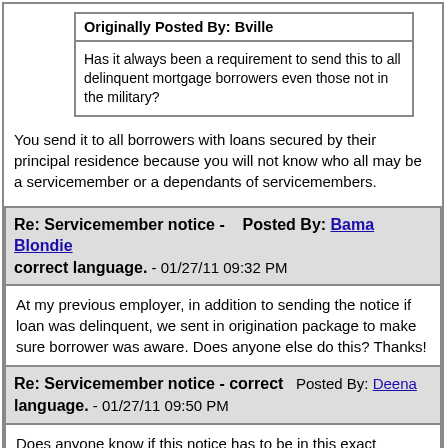Originally Posted By: Bville
Has it always been a requirement to send this to all delinquent mortgage borrowers even those not in the military?
You send it to all borrowers with loans secured by their principal residence because you will not know who all may be a servicemember or a dependants of servicemembers.
Re: Servicemember notice - correct language. - 01/27/11 09:32 PM  Posted By: Bama Blondie
At my previous employer, in addition to sending the notice if loan was delinquent, we sent in origination package to make sure borrower was aware. Does anyone else do this? Thanks!
Re: Servicemember notice - correct language. - 01/27/11 09:50 PM  Posted By: Deena
Does anyone know if this notice has to be in this exact format? We have the language on a notice in our system, but I don't think it's in that format when it prints out.
Re: Servicemember notice - correct language. - 01/27/11 09:59 PM  Posted By: Tesla